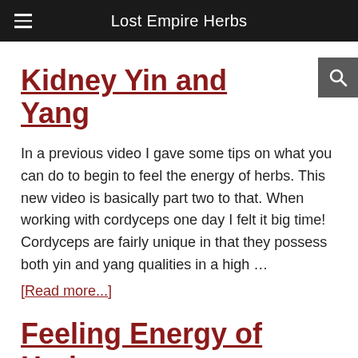Lost Empire Herbs
Kidney Yin and Yang
In a previous video I gave some tips on what you can do to begin to feel the energy of herbs. This new video is basically part two to that. When working with cordyceps one day I felt it big time! Cordyceps are fairly unique in that they possess both yin and yang qualities in a high …
[Read more...]
Feeling Energy of Herbs